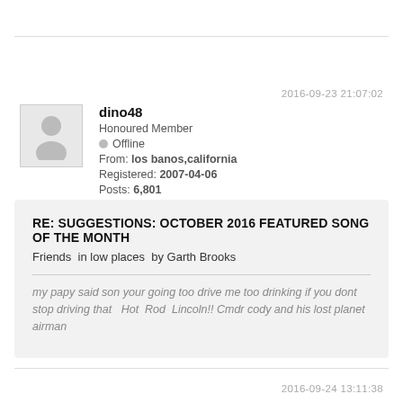2016-09-23 21:07:02
[Figure (illustration): Generic user avatar icon: grey circle (head) and grey torso shape on light grey background inside a square border]
dino48
Honoured Member
Offline
From: los banos,california
Registered: 2007-04-06
Posts: 6,801
RE: SUGGESTIONS: OCTOBER 2016 FEATURED SONG OF THE MONTH
Friends  in low places  by Garth Brooks
my papy said son your going too drive me too drinking if you dont stop driving that  Hot  Rod  Lincoln!! Cmdr cody and his lost planet airman
2016-09-24 13:11:38